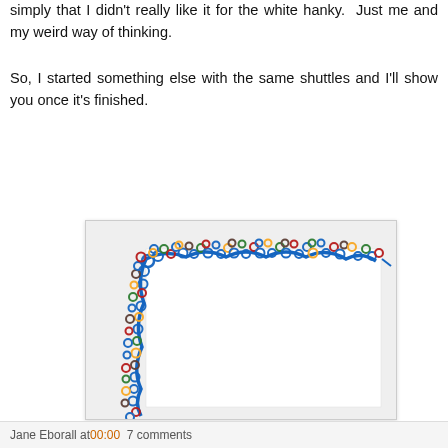simply that I didn't really like it for the white hanky.  Just me and my weird way of thinking.
So, I started something else with the same shuttles and I'll show you once it's finished.
[Figure (photo): A partially completed tatted lace border in blue, red, yellow, green, and brown thread, forming an L-shape along the top and left sides of a white fabric square, photographed on a light gray background.]
Jane Eborall at 00:00  7 comments